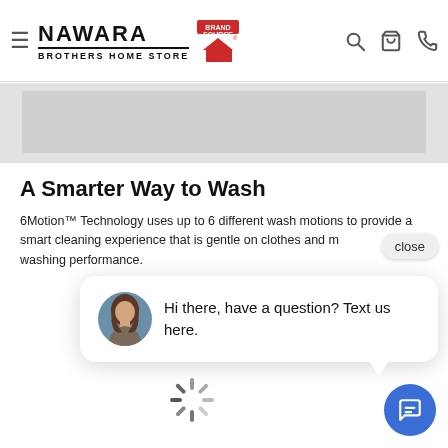Nawara Brothers Home Store — BrandSource navigation bar
[Figure (screenshot): Grey banner/placeholder image area below the navigation bar]
A Smarter Way to Wash
6Motion™ Technology uses up to 6 different wash motions to provide a smart cleaning experience that is gentle on clothes and maximizes washing performance.
[Figure (screenshot): Chat popup overlay showing an avatar of a woman and the message: Hi there, have a question? Text us here. With a close button and a chat FAB button at bottom right, plus a loading spinner at bottom center.]